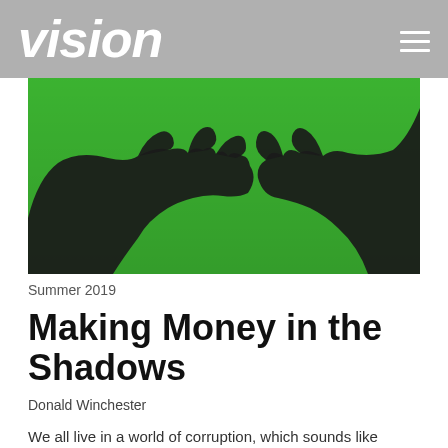vision
[Figure (photo): Two hand silhouettes reaching toward each other against a bright green background, creating a dramatic shadow effect.]
Summer 2019
Making Money in the Shadows
Donald Winchester
We all live in a world of corruption, which sounds like unsupportable and irresponsible hyperbole until one realizes its extent.